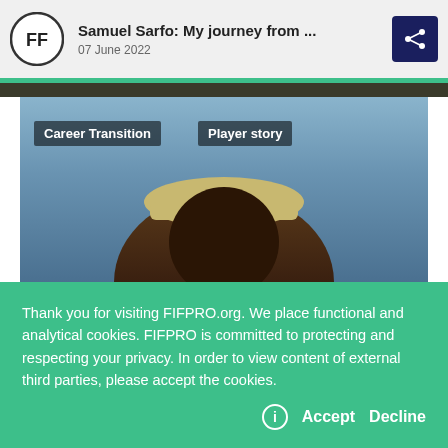Samuel Sarfo: My journey from ... | 07 June 2022
[Figure (photo): Close-up photo of a man wearing a beige flat cap, with sky visible in background. Overlaid tags read 'Career Transition' and 'Player story'.]
Thank you for visiting FIFPRO.org. We place functional and analytical cookies. FIFPRO is committed to protecting and respecting your privacy. In order to view content of external third parties, please accept the cookies.